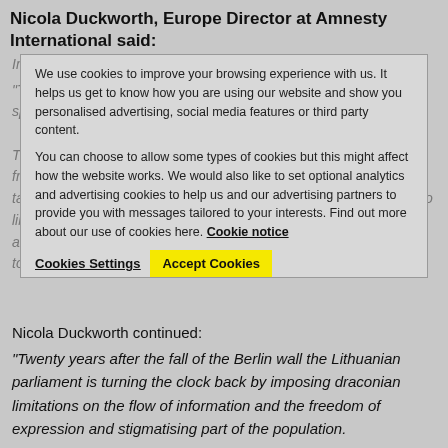Nicola Duckworth, Europe Director at Amnesty International said:
“These proposals are a new low in Lithuania’s slide to state-sponsored homophobia.” The proposed amendments would effectively prevent LGBT people from accessing the appropriate information, support and messages tailored to their sexual orientation and gender identity. They are also likely to lead to increased discrimination and other human rights abuses in a range of settings including employment and the access to goods and services.
We use cookies to improve your browsing experience with us. It helps us get to know how you are using our website and show you personalised advertising, social media features or third party content. You can choose to allow some types of cookies but this might affect how the website works. We would also like to set optional analytics and advertising cookies to help us and our advertising partners to provide you with messages tailored to your interests. Find out more about our use of cookies here. Cookie notice
Cookies Settings | Accept Cookies
Nicola Duckworth continued:
“Twenty years after the fall of the Berlin wall the Lithuanian parliament is turning the clock back by imposing draconian limitations on the flow of information and the freedom of expression and stigmatising part of the population.